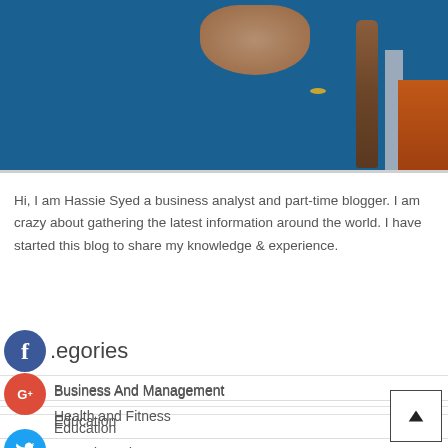[Figure (photo): A person wearing a blue outfit seated in a wooden chair, partial view showing torso/lap area]
Hi, I am Hassie Syed a business analyst and part-time blogger. I am crazy about gathering the latest information around the world. I have started this blog to share my knowledge & experience.
Categories
Business And Management
Education
Health and Fitness
Home and Garden
Legal